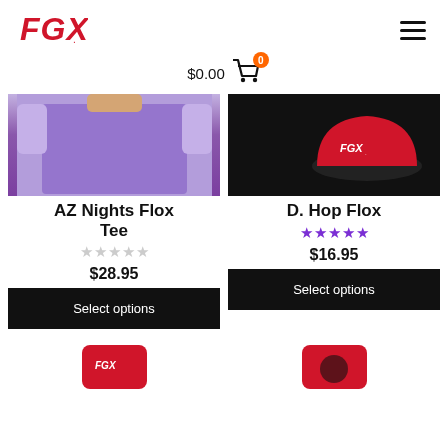[Figure (logo): FGX brand logo in red italic bold text]
[Figure (illustration): Hamburger menu icon (three horizontal lines)]
$0.00 shopping cart icon with 0 badge
[Figure (photo): Person wearing purple AZ Nights Flox Tee shirt]
AZ Nights Flox Tee
[Figure (illustration): 5 empty star rating]
$28.95
Select options
[Figure (photo): D. Hop Flox hat/beanie product image with FGX logo]
D. Hop Flox
[Figure (illustration): 4.5 filled purple stars rating]
$16.95
Select options
[Figure (photo): Red sock product image (partial, bottom of page)]
[Figure (photo): Red sock product image 2 (partial, bottom of page)]